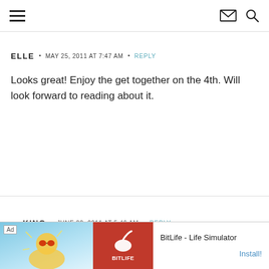Navigation bar with hamburger menu, envelope icon, and search icon
ELLE • MAY 25, 2011 AT 7:47 AM • REPLY
Looks great! Enjoy the get together on the 4th. Will look forward to reading about it.
KING • JUNE 22, 2011 AT 5:46 AM • REPLY
[Figure (other): Ad banner: BitLife - Life Simulator with Install button]